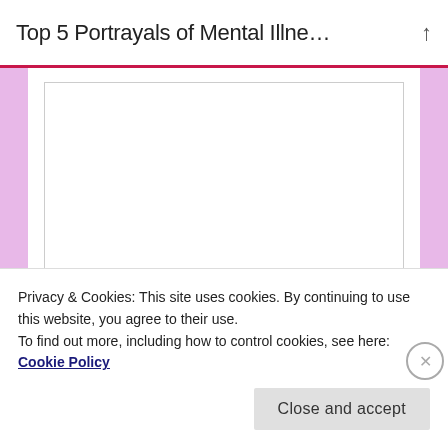Top 5 Portrayals of Mental Illne…
[Figure (screenshot): A white form area with a large empty comment textarea and a Name field below it, on a pink/lavender background]
Name *
Privacy & Cookies: This site uses cookies. By continuing to use this website, you agree to their use.
To find out more, including how to control cookies, see here:
Cookie Policy
Close and accept